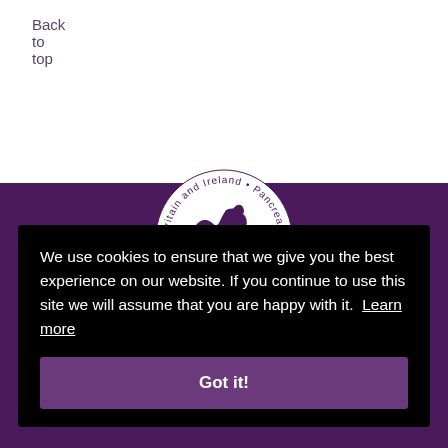Back to top
[Figure (logo): Pancreatic Society of Britain and Ireland circular logo with map of UK and Ireland]
We use cookies to ensure that we give you the best experience on our website. If you continue to use this site we will assume that you are happy with it. Learn more
Got it!